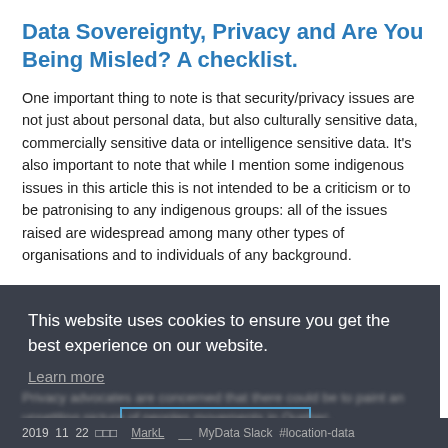Data Sovereignty, Privacy and Are You Being Misled? A checklist.
One important thing to note is that security/privacy issues are not just about personal data, but also culturally sensitive data, commercially sensitive data or intelligence sensitive data. It's also important to note that while I mention some indigenous issues in this article this is not intended to be a criticism or to be patronising to any indigenous groups: all of the issues raised are widespread among many other types of organisations and to individuals of any background.
[Figure (screenshot): Cookie consent banner overlay on website. Dark grey background with white text: 'This website uses cookies to ensure you get the best experience on our website.' Below is a 'Learn more' link. Two buttons: 'Got it!' (white bold text) and 'Allow cookies' (blue outlined button).]
2019  11  22      MarkL    MyData Slack  #location-data